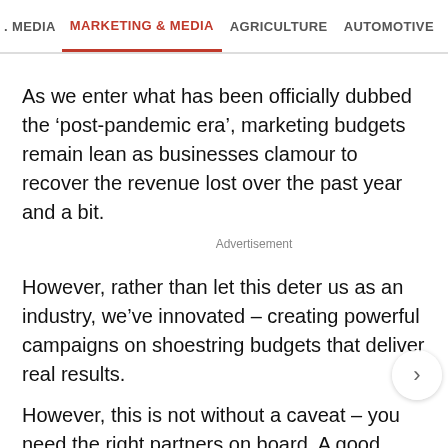. MEDIA   MARKETING & MEDIA   AGRICULTURE   AUTOMOTIVE   CONSTRU
As we enter what has been officially dubbed the ‘post-pandemic era’, marketing budgets remain lean as businesses clamour to recover the revenue lost over the past year and a bit.
Advertisement
However, rather than let this deter us as an industry, we’ve innovated – creating powerful campaigns on shoestring budgets that deliver real results.
However, this is not without a caveat – you need the right partners on board. A good partner will understand your objectives, deal with you transparently, and pro you with options that give you the most bang for you proverbial buck.